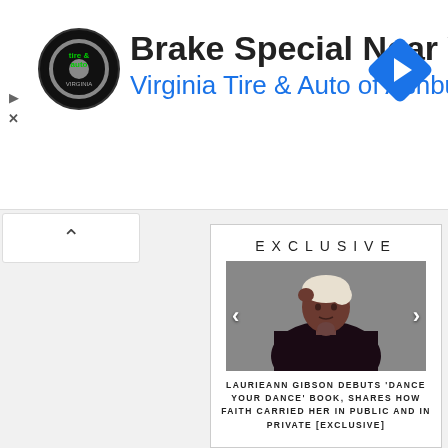[Figure (infographic): Advertisement banner for Virginia Tire & Auto of Ashburn with logo, headline 'Brake Special Near You', subline 'Virginia Tire & Auto of Ashburn ...', blue diamond navigation arrow icon, and ad skip controls]
Brake Special Near You
Virginia Tire & Auto of Ashburn …
EXCLUSIVE
[Figure (photo): Portrait photo of Laurieann Gibson, a woman with short platinum blonde hair wearing a black turtleneck, posed against a gray background]
LAURIEANN GIBSON DEBUTS 'DANCE YOUR DANCE' BOOK, SHARES HOW FAITH CARRIED HER IN PUBLIC AND IN PRIVATE [EXCLUSIVE]